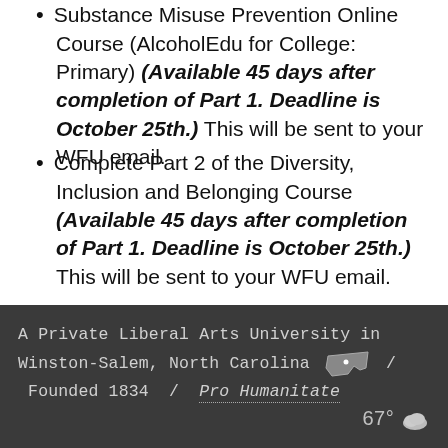Substance Misuse Prevention Online Course (AlcoholEdu for College: Primary) (Available 45 days after completion of Part 1. Deadline is October 25th.) This will be sent to your WFU email.
Complete Part 2 of the Diversity, Inclusion and Belonging Course (Available 45 days after completion of Part 1. Deadline is October 25th.) This will be sent to your WFU email.
A Private Liberal Arts University in Winston-Salem, North Carolina / Founded 1834 / Pro Humanitate   67° [cloud]